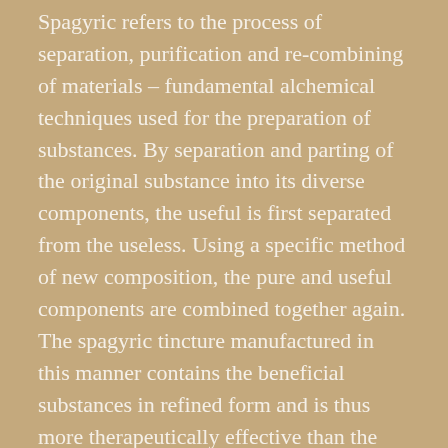Spagyric refers to the process of separation, purification and re-combining of materials – fundamental alchemical techniques used for the preparation of substances. By separation and parting of the original substance into its diverse components, the useful is first separated from the useless. Using a specific method of new composition, the pure and useful components are combined together again. The spagyric tincture manufactured in this manner contains the beneficial substances in refined form and is thus more therapeutically effective than the original substance.
Spagyric tinctures are not effective because of their ingredients; rather, they are effective because of the metaphysical powers released by the